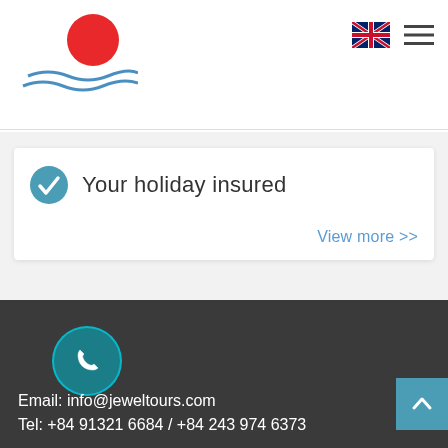[Figure (logo): Jewel Tours logo with red sun and blue wave graphic, text 'Jewel Tours®']
[Figure (other): UK flag icon and hamburger menu icon in header]
Your holiday insured
View more >>
Email: info@jeweltours.com
Tel: +84 91321 6684 / +84 243 974 6373